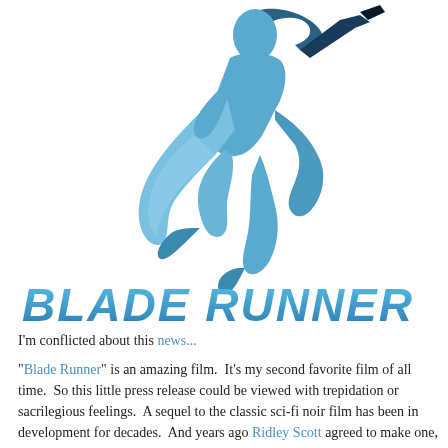[Figure (illustration): Blade Runner silhouette logo: a blue-gradient figure of a man in a trench coat running/leaping with a gun, rendered as a stylized silhouette in shades of blue.]
BLADE RUNNER
I'm conflicted about this news...
"Blade Runner" is an amazing film.  It's my second favorite film of all time.  So this little press release could be viewed with trepidation or sacrilegious feelings.  A sequel to the classic sci-fi noir film has been in development for decades.  And years ago Ridley Scott agreed to make one, even hiring Hampton Fancher to create the screenplay.  I always believed it was a money